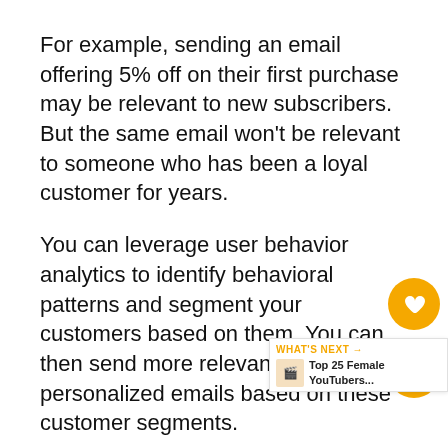For example, sending an email offering 5% off on their first purchase may be relevant to new subscribers. But the same email won't be relevant to someone who has been a loyal customer for years.
You can leverage user behavior analytics to identify behavioral patterns and segment your customers based on them. You can then send more relevant and personalized emails based on these customer segments.
According to a MailChimp report, segmenting your emails can result in 14.31% higher open rates, and 100.95% more clicks. In other words, receiving an email that's relevant to a customer